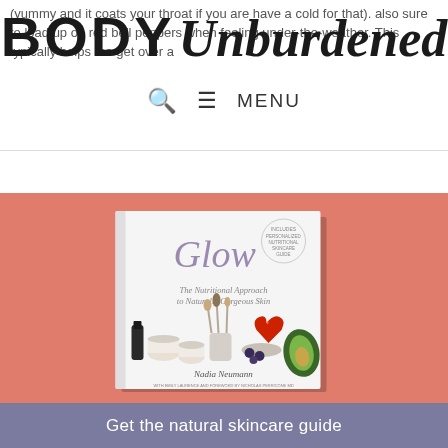BODY Unburdened — navigation header with search and menu
(yummy and it coats your throat if you are have a cold for that) also sure to load up on red bell peppers when feeling under-the-weather. This typically helps me get over a cold in 2 days or less.
[Figure (photo): Book cover for 'Glow: The Nutritional Approach to Naturally Gorgeous Skin' by Nadia Neumann, displayed against a salmon/coral pink background. The book shows makeup brushes, strawberries, avocado and skincare items on its cover.]
Get the natural skincare guide